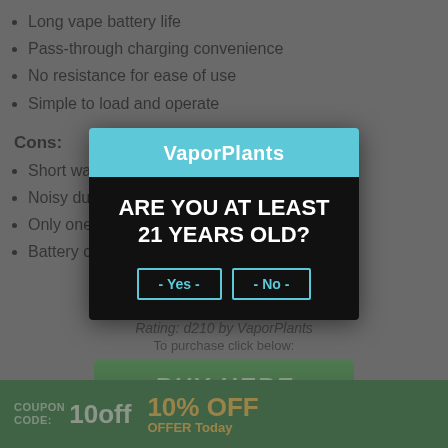Long vape battery life
Pass-through charging convenience
No resistance for ease of use
Simple to load and operate
Cons:
Short warranty
Noisy during use
Only one heat setting
Battery cap only
V8 Eleven Pen Reviewed
Rating: d210 by VaporPlants
To purchase click below:
[Figure (other): BUY HERE green button]
Use coupon code 'VPR' to save 10% OFF
[Figure (infographic): Age verification modal: VaporPlants header, ARE YOU AT LEAST 21 YEARS OLD?, Yes and No buttons]
COUPON CODE: 10off  10% OFF OFFER Today